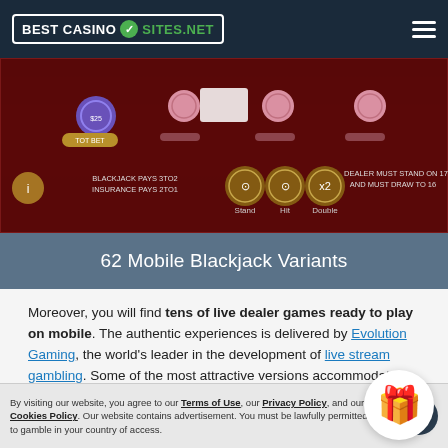BestCasinoSites.NET
[Figure (screenshot): Mobile blackjack game table screenshot showing a dark red felt table with betting chips, game action buttons (Stand, Hit, Double), and text showing BLACKJACK PAYS 3TO2 / INSURANCE PAYS 2TO1 and DEALER MUST STAND ON 17 AND MUST DRAW TO 16]
62 Mobile Blackjack Variants
Moreover, you will find tens of live dealer games ready to play on mobile. The authentic experiences is delivered by Evolution Gaming, the world's leader in the development of live stream gambling. Some of the most attractive versions accommodate both high-rollers and penny pinchers, because of the extended ranges.
[Figure (illustration): Green gift box emoji/icon with red bow in a white circle]
By visiting our website, you agree to our Terms of Use, our Privacy Policy, and our Cookies Policy. Our website contains advertisement. You must be lawfully permitted to gamble in your country of access.